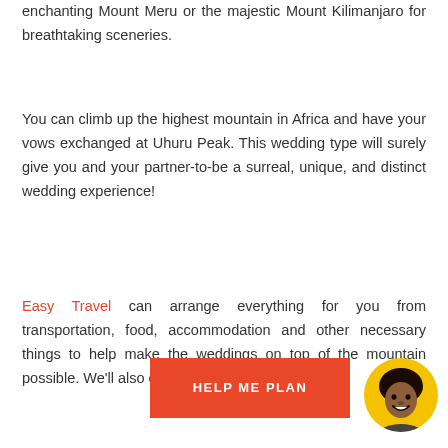enchanting Mount Meru or the majestic Mount Kilimanjaro for breathtaking sceneries.
You can climb up the highest mountain in Africa and have your vows exchanged at Uhuru Peak. This wedding type will surely give you and your partner-to-be a surreal, unique, and distinct wedding experience!
Easy Travel can arrange everything for you from transportation, food, accommodation and other necessary things to help make the weddings on top of the mountain possible. We'll also ensure that
[Figure (other): Orange button labeled HELP ME PLAN and a circular avatar photo of a smiling woman with curly hair on a yellow background]